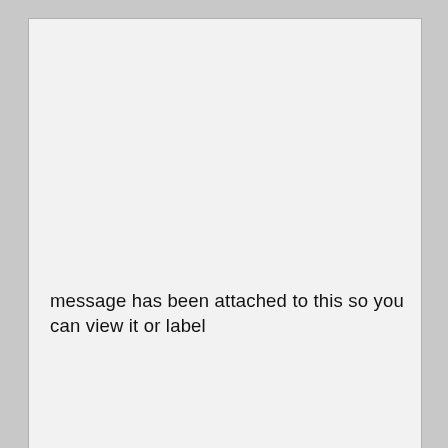message has been attached to this so you can view it or label
[Figure (screenshot): Advertisement banner for Belk.com showing children's clothing items, title 'Belk.com - Belk® - Official Site', subtitle 'Up To 40% Off Kids & Baby Apparel', URL 'www.belk.com', with a close button (X) and a large blue circular arrow/navigation button on the right side.]